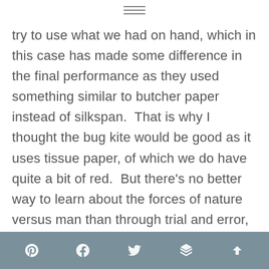≡
try to use what we had on hand, which in this case has made some difference in the final performance as they used something similar to butcher paper instead of silkspan.  That is why I thought the bug kite would be good as it uses tissue paper, of which we do have quite a bit of red.  But there's no better way to learn about the forces of nature versus man than through trial and error, and half the fun is in the
Pinterest  Facebook  Twitter  Buffer  Scroll to top